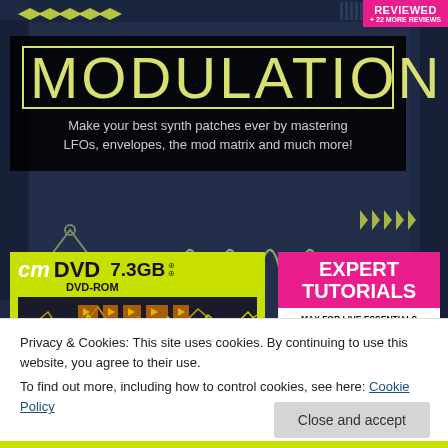[Figure (illustration): Computer music magazine cover featuring 'MODULATION' as the main headline in large yellow outlined text on a dark/black background. Subtitle reads 'Make your best synth patches ever by mastering LFOs, envelopes, the mod matrix and much more!'. Top right has a magenta REVIEWED badge with '+ 22 MORE REVIEWS'. Bottom left has a yellow-green cm DVD section showing '7.3GB DVD-ROM' with a software screenshot. Bottom right has a magenta 'EXPERT TUTORIALS' badge listing MAX FOR LIVE ESSENTIALS, cm FOCUS: REVERBERATE CM, GREAT BASS GUITAR TONE AND MUCH MORE!. Background has dark blue synth/hardware imagery with LFO waveform decorations.]
Privacy & Cookies: This site uses cookies. By continuing to use this website, you agree to their use.
To find out more, including how to control cookies, see here: Cookie Policy
Close and accept